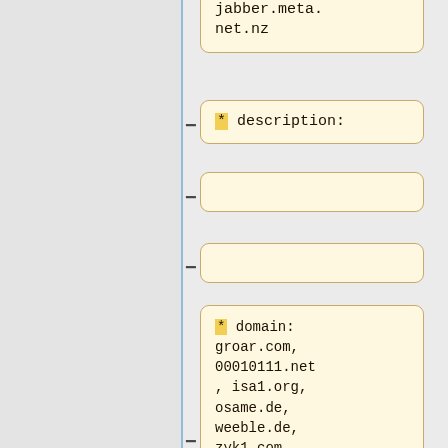jabber.meta.net.nz
* description:
* domain: groar.com, 00010111.net, isa1.org, osame.de, weeble.de, zyk1.com
* Website: http://groar.com/
* year launched: